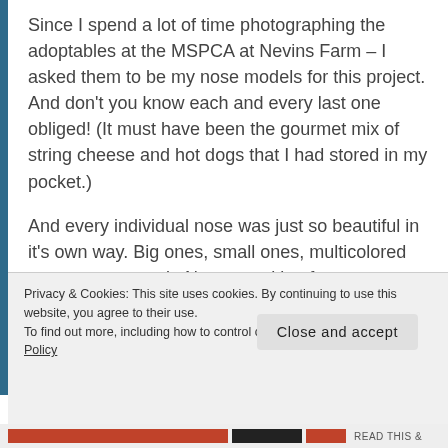Since I spend a lot of time photographing the adoptables at the MSPCA at Nevins Farm – I asked them to be my nose models for this project. And don't you know each and every last one obliged! (It must have been the gourmet mix of string cheese and hot dogs that I had stored in my pocket.)
And every individual nose was just so beautiful in it's own way. Big ones, small ones, multicolored ones.. you name it. Noses peeking from cages and noses nudging my cheek. Noses sniffing for magical treasures in the grass and
Privacy & Cookies: This site uses cookies. By continuing to use this website, you agree to their use.
To find out more, including how to control cookies, see here: Cookie Policy
Close and accept